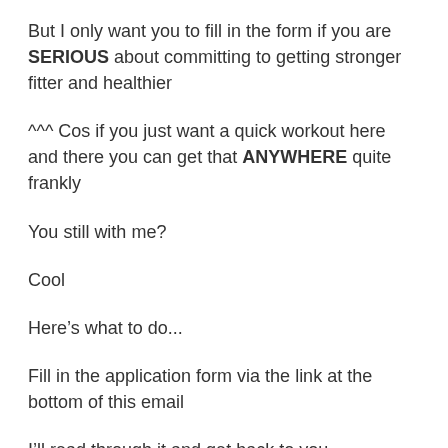But I only want you to fill in the form if you are SERIOUS about committing to getting stronger fitter and healthier
^^^ Cos if you just want a quick workout here and there you can get that ANYWHERE quite frankly
You still with me?
Cool
Here’s what to do...
Fill in the application form via the link at the bottom of this email
I’ll read through it and get back to you...